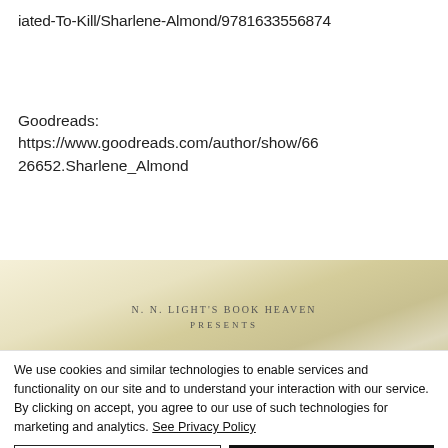iated-To-Kill/Sharlene-Almond/9781633556874
Goodreads: https://www.goodreads.com/author/show/6626652.Sharlene_Almond
[Figure (illustration): Banner image for N. N. Light's Book Heaven Presents, showing stylized book spines against a warm yellow/cream background]
We use cookies and similar technologies to enable services and functionality on our site and to understand your interaction with our service. By clicking on accept, you agree to our use of such technologies for marketing and analytics. See Privacy Policy